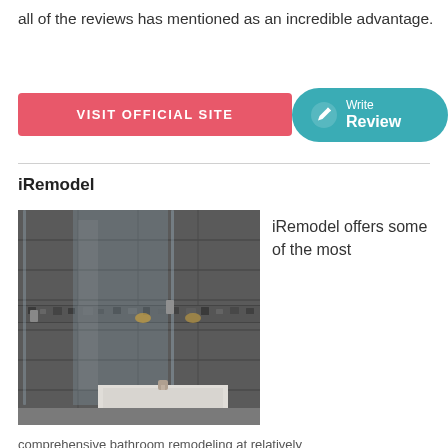all of the reviews has mentioned as an incredible advantage.
VISIT OFFICIAL SITE
Write Review
iRemodel
[Figure (photo): Bathroom remodeling photo showing a walk-in shower with glass panels and dark tile walls]
iRemodel offers some of the most
REQUEST PRICING
comprehensive bathroom remodeling at relatively